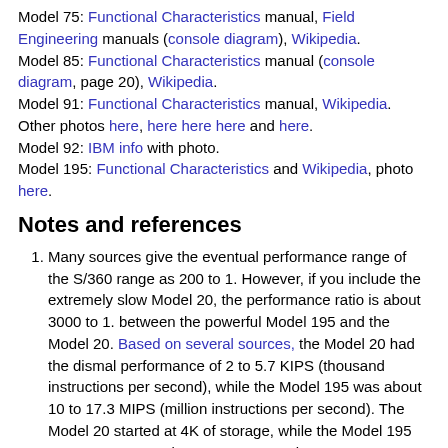Model 75: Functional Characteristics manual, Field Engineering manuals (console diagram), Wikipedia. Model 85: Functional Characteristics manual (console diagram, page 20), Wikipedia. Model 91: Functional Characteristics manual, Wikipedia. Other photos here, here here here and here. Model 92: IBM info with photo. Model 195: Functional Characteristics and Wikipedia, photo here.
Notes and references
1. Many sources give the eventual performance range of the S/360 range as 200 to 1. However, if you include the extremely slow Model 20, the performance ratio is about 3000 to 1. between the powerful Model 195 and the Model 20. Based on several sources, the Model 20 had the dismal performance of 2 to 5.7 KIPS (thousand instructions per second), while the Model 195 was about 10 to 17.3 MIPS (million instructions per second). The Model 20 started at 4K of storage, while the Model 195 went up to 8 megabytes, a 2000:1 ratio.